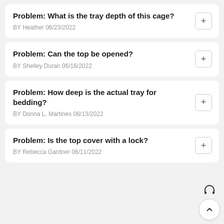Problem: What is the tray depth of this cage?
BY Heather 06/23/2022
Problem: Can the top be opened?
BY Shelley Duran 06/16/2022
Problem: How deep is the actual tray for bedding?
BY Donna L. Martines 06/13/2022
Problem: Is the top cover with a lock?
BY Rebecca Gardner 06/11/2022